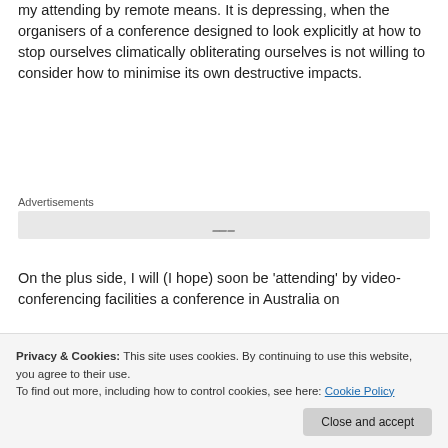my attending by remote means. It is depressing, when the organisers of a conference designed to look explicitly at how to stop ourselves climatically obliterating ourselves is not willing to consider how to minimise its own destructive impacts.
Advertisements
[Figure (other): Advertisement banner placeholder box]
On the plus side, I will (I hope) soon be 'attending' by video-conferencing facilities a conference in Australia on 'Changing the climate: Utopia, dystopia and catastrophe'
Privacy & Cookies: This site uses cookies. By continuing to use this website, you agree to their use. To find out more, including how to control cookies, see here: Cookie Policy
Close and accept